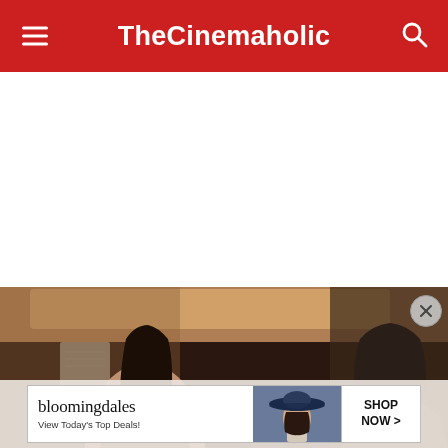TheCinemaholic
[Figure (photo): Two women in conversation inside a room with warm ambient lighting. One woman with long dark hair faces the camera slightly, the other with shoulder-length hair is seen from behind.]
[Figure (screenshot): Bloomingdale's advertisement banner: 'bloomingdales View Today's Top Deals!' with image of woman in wide-brim hat and 'SHOP NOW >' call-to-action button.]